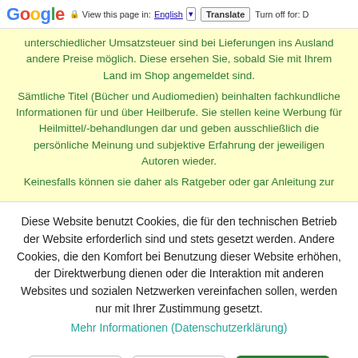Google | View this page in: English | Translate | Turn off for: D
unterschiedlicher Umsatzsteuer sind bei Lieferungen ins Ausland andere Preise möglich. Diese ersehen Sie, sobald Sie mit Ihrem Land im Shop angemeldet sind.
Sämtliche Titel (Bücher und Audiomedien) beinhalten fachkundliche Informationen für und über Heilberufe. Sie stellen keine Werbung für Heilmittel/-behandlungen dar und geben ausschließlich die persönliche Meinung und subjektive Erfahrung der jeweiligen Autoren wieder.
Keinesfalls können sie daher als Ratgeber oder gar Anleitung zur
Diese Website benutzt Cookies, die für den technischen Betrieb der Website erforderlich sind und stets gesetzt werden. Andere Cookies, die den Komfort bei Benutzung dieser Website erhöhen, der Direktwerbung dienen oder die Interaktion mit anderen Websites und sozialen Netzwerken vereinfachen sollen, werden nur mit Ihrer Zustimmung gesetzt.
Mehr Informationen (Datenschutzerklärung)
Ablehnen
Alle akzeptieren
Konfigurieren